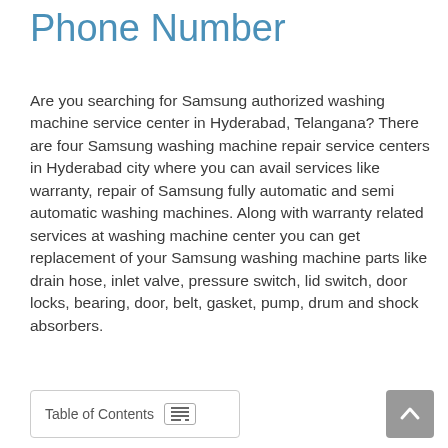Phone Number
Are you searching for Samsung authorized washing machine service center in Hyderabad, Telangana? There are four Samsung washing machine repair service centers in Hyderabad city where you can avail services like warranty, repair of Samsung fully automatic and semi automatic washing machines. Along with warranty related services at washing machine center you can get replacement of your Samsung washing machine parts like drain hose, inlet valve, pressure switch, lid switch, door locks, bearing, door, belt, gasket, pump, drum and shock absorbers.